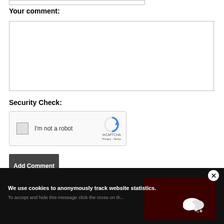Your comment:
[Figure (screenshot): Empty text area input box for comment entry]
Security Check:
[Figure (screenshot): reCAPTCHA widget with checkbox labeled I'm not a robot]
Add Comment
We use cookies to anonymously track website statistics.
To accept and hide this message click the cross on th...